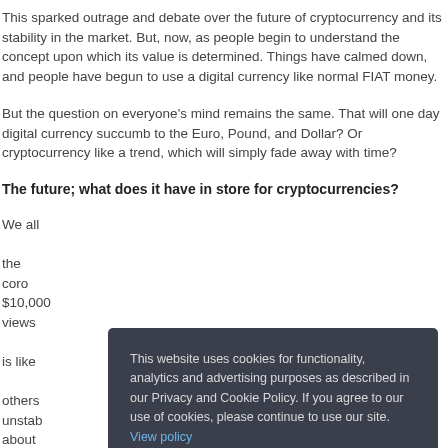This sparked outrage and debate over the future of cryptocurrency and its stability in the market. But, now, as people begin to understand the concept upon which its value is determined. Things have calmed down, and people have begun to use a digital currency like normal FIAT money.
But the question on everyone’s mind remains the same. That will one day digital currency succumb to the Euro, Pound, and Dollar? Or cryptocurrency like a trend, which will simply fade away with time?
The future; what does it have in store for cryptocurrencies?
We all [partially obscured] the corona[partially obscured] er $10,000[partially obscured] ferent views [partially obscured] demic is like [partially obscured] ne, others [partially obscured] unstab[partially obscured] e about [partially obscured] cryptocurrency will reach a value of around $100,000 during the